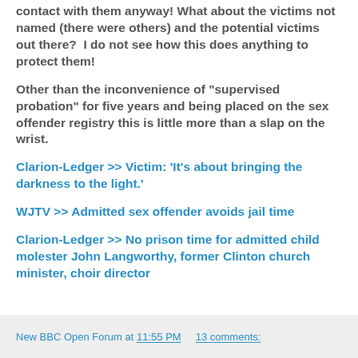contact with them anyway! What about the victims not named (there were others) and the potential victims out there?  I do not see how this does anything to protect them!
Other than the inconvenience of "supervised probation" for five years and being placed on the sex offender registry this is little more than a slap on the wrist.
Clarion-Ledger >> Victim: 'It's about bringing the darkness to the light.'
WJTV >> Admitted sex offender avoids jail time
Clarion-Ledger >> No prison time for admitted child molester John Langworthy, former Clinton church minister, choir director
New BBC Open Forum at 11:55 PM    13 comments: